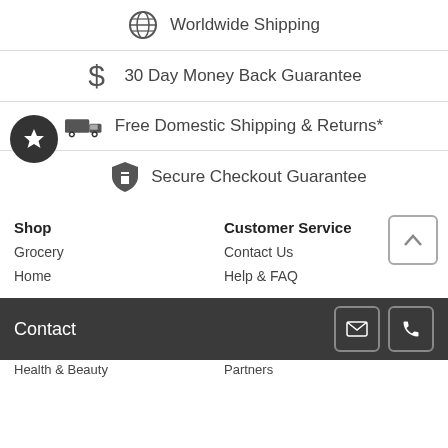Worldwide Shipping
30 Day Money Back Guarantee
Free Domestic Shipping & Returns*
Secure Checkout Guarantee
Shop
Customer Service
Grocery
Contact Us
Home
Help & FAQ
Contact
Health & Beauty
Partners